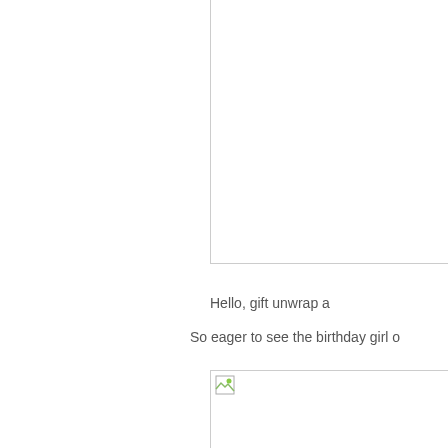[Figure (photo): Image placeholder (broken/missing image) in a bordered box, upper right portion of page, partially cropped]
Hello, gift unwrap a
So eager to see the birthday girl o
[Figure (photo): Image placeholder (broken/missing image) in a bordered box, lower right portion of page, partially cropped]